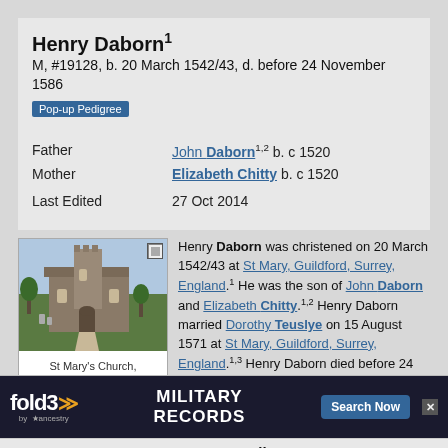Henry Daborn¹
M, #19128, b. 20 March 1542/43, d. before 24 November 1586
Pop-up Pedigree
| Field | Value |
| --- | --- |
| Father | John Daborn¹·² b. c 1520 |
| Mother | Elizabeth Chitty b. c 1520 |
| Last Edited | 27 Oct 2014 |
[Figure (photo): Photo of St Mary's Church, Guildford, Surrey, England]
St Mary's Church, Guildford, Surrey, England
Henry Daborn was christened on 20 March 1542/43 at St Mary, Guildford, Surrey, England.¹ He was the son of John Daborn and Elizabeth Chitty.¹·² Henry Daborn married Dorothy Teuslye on 15 August 1571 at St Mary, Guildford, Surrey, England.¹·³ Henry Daborn died before 24 November 1586.¹ He was buried on 24 November 1586 at
Family
fold3 MILITARY RECORDS — Search Now (advertisement)